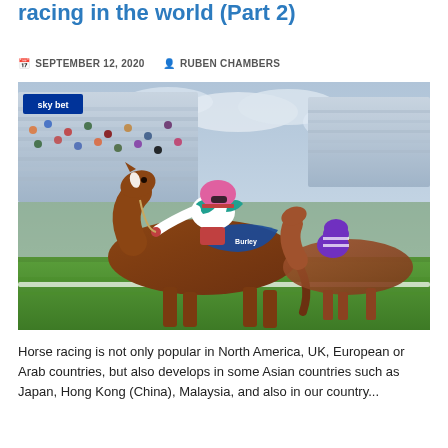racing in the world (Part 2)
SEPTEMBER 12, 2020   RUBEN CHAMBERS
[Figure (photo): Horse racing scene: a jockey in pink helmet and white/teal silks rides a chestnut horse at full gallop on a grass track, leading another horse ridden by a jockey in purple; grandstand crowd visible in background with Sky Bet branding.]
Horse racing is not only popular in North America, UK, European or Arab countries, but also develops in some Asian countries such as Japan, Hong Kong (China), Malaysia, and also in our country...